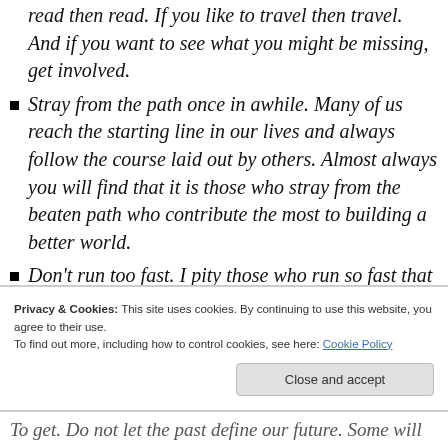read then read. If you like to travel then travel. And if you want to see what you might be missing, get involved.
Stray from the path once in awhile. Many of us reach the starting line in our lives and always follow the course laid out by others. Almost always you will find that it is those who stray from the beaten path who contribute the most to building a better world.
Don't run too fast. I pity those who run so fast that they never see anything around them. Sadly when they get to the finish line they find the race is over and their
Privacy & Cookies: This site uses cookies. By continuing to use this website, you agree to their use.
To find out more, including how to control cookies, see here: Cookie Policy
Close and accept
To get. Do not let the past define our future. Some will